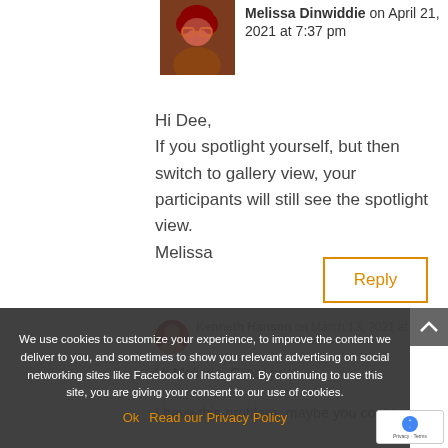Melissa Dinwiddie on April 21, 2021 at 7:37 pm
Hi Dee,
If you spotlight yourself, but then switch to gallery view, your participants will still see the spotlight view.
Melissa
Reply
Kenneth Hanson on March 13, 2021 at [time]
We use cookies to customize your experience, to improve the content we deliver to you, and sometimes to show you relevant advertising on social networking sites like Facebook or Instagram. By continuing to use this site, you are giving your consent to our use of cookies.
Ok  Read our Privacy Policy
Hi Melissa, Great post.
I have this problem, maybe you could